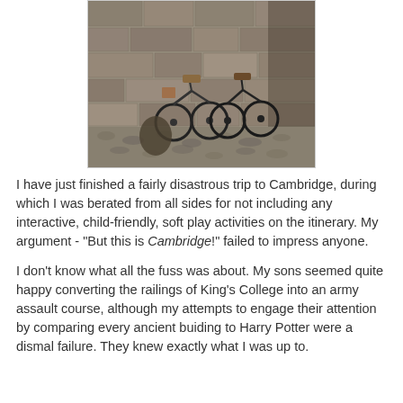[Figure (photo): Photo of several bicycles leaned against a stone wall with cobblestone floor, likely in Cambridge]
I have just finished a fairly disastrous trip to Cambridge, during which I was berated from all sides for not including any interactive, child-friendly, soft play activities on the itinerary. My argument - "But this is Cambridge!" failed to impress anyone.
I don't know what all the fuss was about. My sons seemed quite happy converting the railings of King's College into an army assault course, although my attempts to engage their attention by comparing every ancient buiding to Harry Potter were a dismal failure. They knew exactly what I was up to.